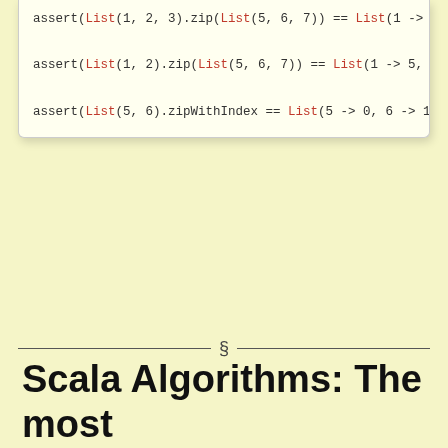assert(List(1, 2, 3).zip(List(5, 6, 7)) == List(1 -> 5,
assert(List(1, 2).zip(List(5, 6, 7)) == List(1 -> 5, 2 -
assert(List(5, 6).zipWithIndex == List(5 -> 0, 6 -> 1))
assert(List(5, 6).zipAll(List('A'), 9, 'Z') == List(5 ->
assert(List(5).zipAll(List('A', 'B'), 1, 'Z') == List(5
Run code in the IDE
§
Scala Algorithms: The most